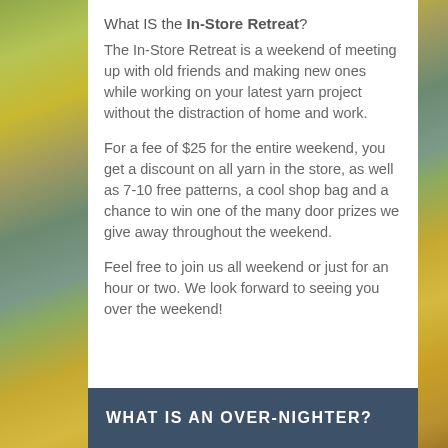What IS the In-Store Retreat?
The In-Store Retreat is a weekend of meeting up with old friends and making new ones while working on your latest yarn project without the distraction of home and work.
For a fee of $25 for the entire weekend, you get a discount on all yarn in the store, as well as 7-10 free patterns, a cool shop bag and a chance to win one of the many door prizes we give away throughout the weekend.
Feel free to join us all weekend or just for an hour or two. We look forward to seeing you over the weekend!
WHAT IS AN OVER-NIGHTER?